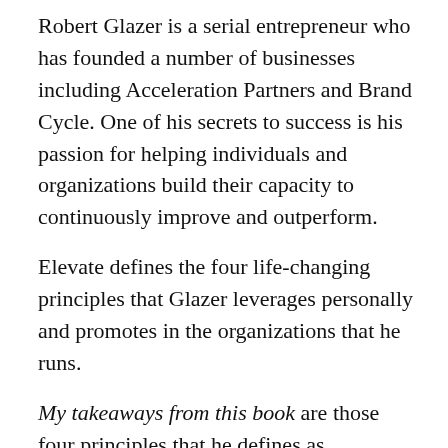Robert Glazer is a serial entrepreneur who has founded a number of businesses including Acceleration Partners and Brand Cycle. One of his secrets to success is his passion for helping individuals and organizations build their capacity to continuously improve and outperform.
Elevate defines the four life-changing principles that Glazer leverages personally and promotes in the organizations that he runs.
My takeaways from this book are those four principles that he defines as capacities:
Spiritual Capacity – This is about understanding who you are, your values and standards.